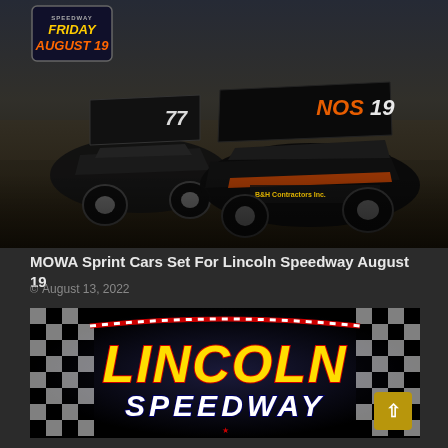[Figure (photo): Two MOWA sprint cars racing on dirt track. Car #77 on left and car #19 (NOS energy drink sponsored, B&H Contractors Inc.) on right. Event badge in top left reads FRIDAY AUGUST 19 with speedway logo.]
MOWA Sprint Cars Set For Lincoln Speedway August 19
© August 13, 2022
[Figure (logo): Lincoln Speedway logo with large yellow italic LINCOLN text on top and white italic SPEEDWAY text below, set against black background with checkered flag pattern on sides.]